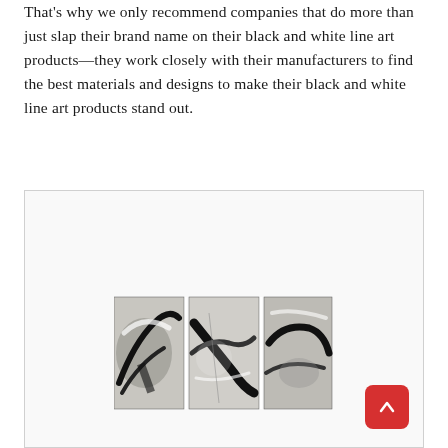That's why we only recommend companies that do more than just slap their brand name on their black and white line art products—they work closely with their manufacturers to find the best materials and designs to make their black and white line art products stand out.
[Figure (photo): A triptych of black and white abstract canvas art prints showing swirling brushstroke patterns, displayed as three panels side by side. Below the artwork is a red square button with an upward arrow (scroll-to-top button).]